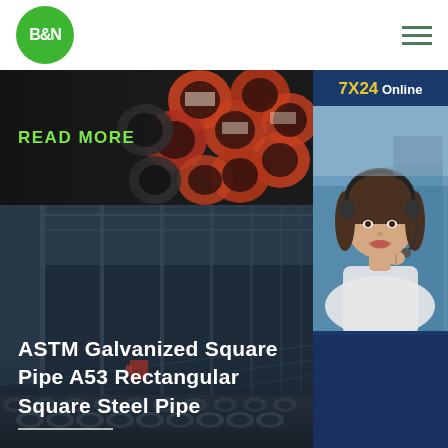[Figure (logo): B&N green circular logo]
[Figure (photo): Orange and black industrial pipes stacked together]
READ MORE
[Figure (photo): Customer service representative wearing headset, smiling]
7X24 Online
Hello,may I help you?
Get Latest Price
[Figure (photo): Industrial steel pipe warehouse interior with high ceiling]
ASTM Galvanized Square Pipe A53 Rectangular Square Steel Pipe